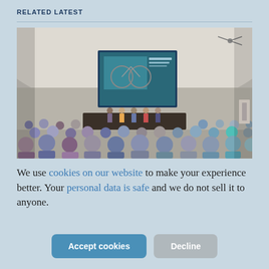RELATED LATEST
[Figure (photo): A conference or seminar room with an audience seated, facing a presenter at the front. A large screen displays a presentation with an image of bicycle-related content. The room has white arched walls and ceiling, with people viewed from behind.]
We use cookies on our website to make your experience better. Your personal data is safe and we do not sell it to anyone.
Accept cookies
Decline